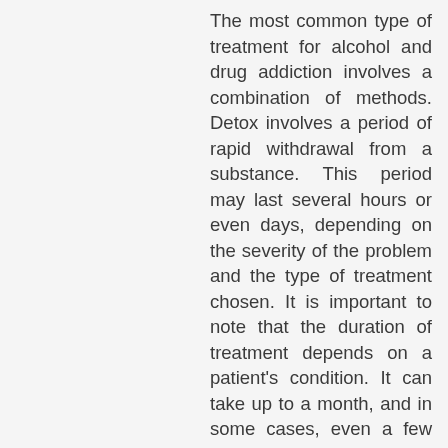The most common type of treatment for alcohol and drug addiction involves a combination of methods. Detox involves a period of rapid withdrawal from a substance. This period may last several hours or even days, depending on the severity of the problem and the type of treatment chosen. It is important to note that the duration of treatment depends on a patient's condition. It can take up to a month, and in some cases, even a few weeks.